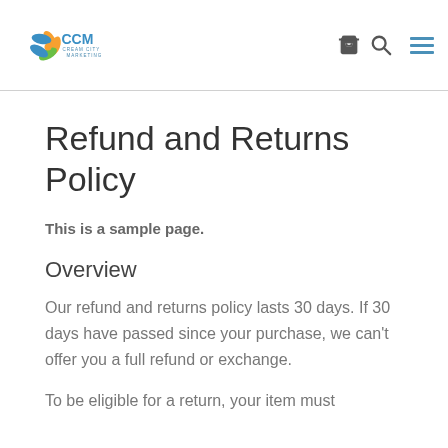[Figure (logo): CCM Cream City Marketing logo with colorful flower/leaf graphic and blue text]
Refund and Returns Policy
This is a sample page.
Overview
Our refund and returns policy lasts 30 days. If 30 days have passed since your purchase, we can't offer you a full refund or exchange.
To be eligible for a return, your item must